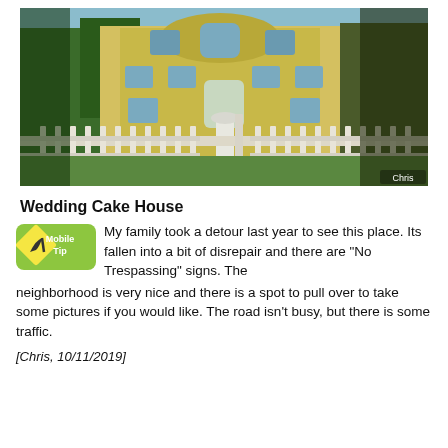[Figure (photo): Photograph of the Wedding Cake House — a large ornate Victorian-style yellow mansion with arched windows and decorative trim, seen through trees with a white picket fence in the foreground. Photo credit: Chris.]
Wedding Cake House
[Figure (logo): Mobile Tip icon — green pill-shaped badge with a yellow diamond road sign icon and text 'Mobile Tip']
My family took a detour last year to see this place. Its fallen into a bit of disrepair and there are "No Trespassing" signs. The neighborhood is very nice and there is a spot to pull over to take some pictures if you would like. The road isn't busy, but there is some traffic.
[Chris, 10/11/2019]